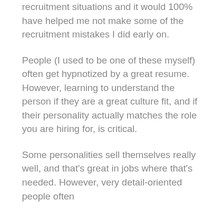recruitment situations and it would 100% have helped me not make some of the recruitment mistakes I did early on.
People (I used to be one of these myself) often get hypnotized by a great resume. However, learning to understand the person if they are a great culture fit, and if their personality actually matches the role you are hiring for, is critical.
Some personalities sell themselves really well, and that's great in jobs where that's needed. However, very detail-oriented people often